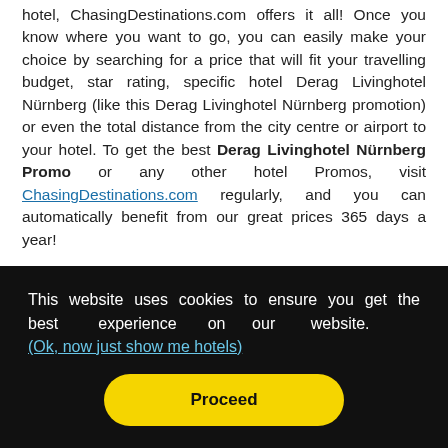hotel, ChasingDestinations.com offers it all! Once you know where you want to go, you can easily make your choice by searching for a price that will fit your travelling budget, star rating, specific hotel Derag Livinghotel Nürnberg (like this Derag Livinghotel Nürnberg promotion) or even the total distance from the city centre or airport to your hotel. To get the best Derag Livinghotel Nürnberg Promo or any other hotel Promos, visit ChasingDestinations.com regularly, and you can automatically benefit from our great prices 365 days a year!
This website uses cookies to ensure you get the best experience on our website. (Ok, now just show me hotels)
Proceed